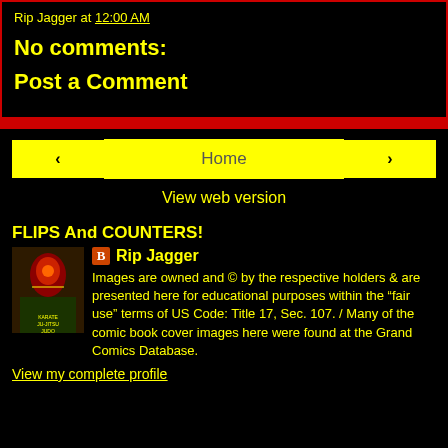Rip Jagger at 12:00 AM
No comments:
Post a Comment
Home
View web version
FLIPS And COUNTERS!
Rip Jagger
Images are owned and © by the respective holders & are presented here for educational purposes within the “fair use” terms of US Code: Title 17, Sec. 107. / Many of the comic book cover images here were found at the Grand Comics Database.
View my complete profile